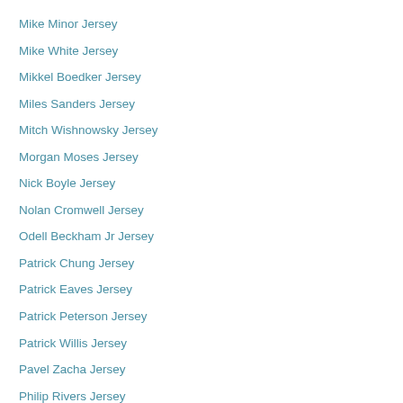Mike Minor Jersey
Mike White Jersey
Mikkel Boedker Jersey
Miles Sanders Jersey
Mitch Wishnowsky Jersey
Morgan Moses Jersey
Nick Boyle Jersey
Nolan Cromwell Jersey
Odell Beckham Jr Jersey
Patrick Chung Jersey
Patrick Eaves Jersey
Patrick Peterson Jersey
Patrick Willis Jersey
Pavel Zacha Jersey
Philip Rivers Jersey